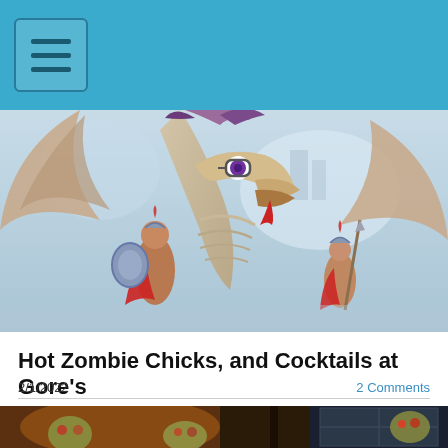Navigation menu header with hamburger icon
[Figure (illustration): Fantasy illustration of a large skeletal/feathered dragon creature with glowing purple eye wearing glasses, with two Roman gladiator warriors, one holding a shield in front of the dragon and another holding a spear to the right, misty castle in background]
Hot Zombie Chicks, and Cocktails at Gore's
2/1/2022
2 Comments
[Figure (illustration): Dark illustration showing zombie heads/faces in a dimly lit interior scene with warm amber lighting on the left and a window with grid pattern on the right]